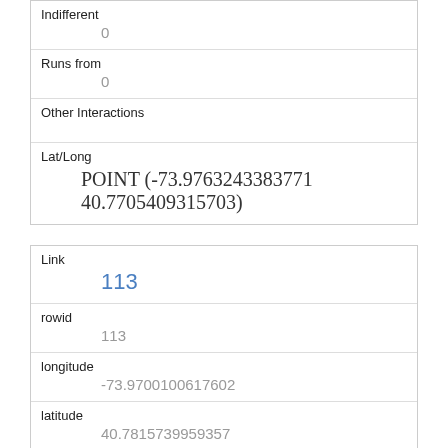| Indifferent | 0 |
| Runs from | 0 |
| Other Interactions |  |
| Lat/Long | POINT (-73.9763243383771 40.7705409315703) |
| Link | 113 |
| rowid | 113 |
| longitude | -73.9700100617602 |
| latitude | 40.7815739959357 |
| Unique Squirrel ID | 19B-PM-1018-01 |
| Hectare | 19B |